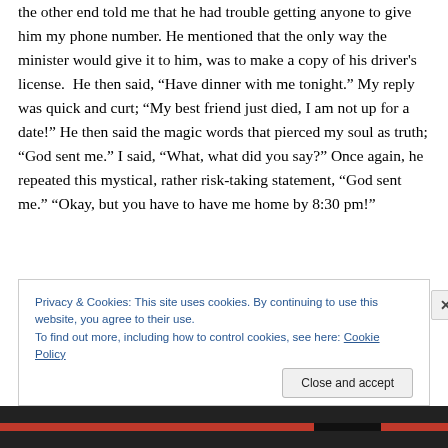the other end told me that he had trouble getting anyone to give him my phone number. He mentioned that the only way the minister would give it to him, was to make a copy of his driver's license.  He then said, “Have dinner with me tonight.” My reply was quick and curt; “My best friend just died, I am not up for a date!” He then said the magic words that pierced my soul as truth; “God sent me.” I said, “What, what did you say?” Once again, he repeated this mystical, rather risk-taking statement, “God sent me.” “Okay, but you have to have me home by 8:30 pm!”
I dried my tears, reapplied my makeup and bucked up like
Privacy & Cookies: This site uses cookies. By continuing to use this website, you agree to their use.
To find out more, including how to control cookies, see here: Cookie Policy